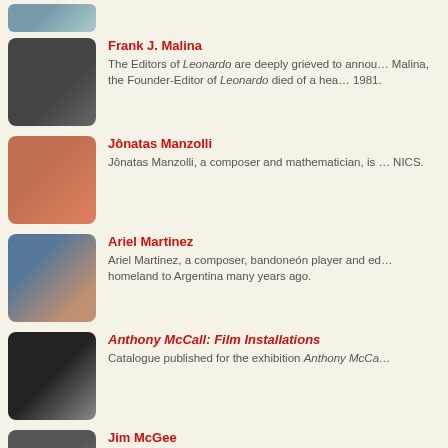[Figure (photo): Partial top photo of a person, cropped]
Frank J. Malina
The Editors of Leonardo are deeply grieved to announce that Frank J. Malina, the Founder-Editor of Leonardo died of a heart attack in November 1981.
[Figure (photo): Portrait photo of Jônatas Manzolli smiling, wearing orange]
Jônatas Manzolli
Jônatas Manzolli, a composer and mathematician, is a researcher at NICS.
[Figure (photo): Photo of Ariel Martinez, composite image]
Ariel Martinez
Ariel Martinez, a composer, bandoneón player and educator, moved from his homeland to Argentina many years ago.
[Figure (photo): Black and white photo related to Anthony McCall film installation, light beam]
Anthony McCall: Film Installations
Catalogue published for the exhibition Anthony McCa…
[Figure (photo): Black and white portrait of Jim McGee]
Jim McGee
At Bell Labs, Jim McGee focused mainly on research…